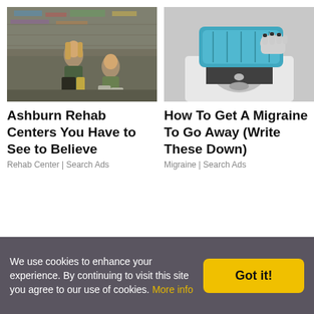[Figure (photo): Two young women posing in front of a graffiti wall, street style fashion]
[Figure (photo): Woman holding a blue ice pack over her eyes in black and white photo]
Ashburn Rehab Centers You Have to See to Believe
Rehab Center | Search Ads
How To Get A Migraine To Go Away (Write These Down)
Migraine | Search Ads
We use cookies to enhance your experience. By continuing to visit this site you agree to our use of cookies. More info